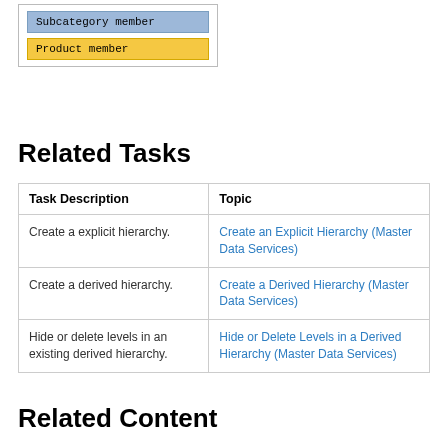[Figure (illustration): Legend box showing two colored labels: 'Subcategory member' in blue-grey and 'Product member' in yellow/gold]
Related Tasks
| Task Description | Topic |
| --- | --- |
| Create a explicit hierarchy. | Create an Explicit Hierarchy (Master Data Services) |
| Create a derived hierarchy. | Create a Derived Hierarchy (Master Data Services) |
| Hide or delete levels in an existing derived hierarchy. | Hide or Delete Levels in a Derived Hierarchy (Master Data Services) |
Related Content